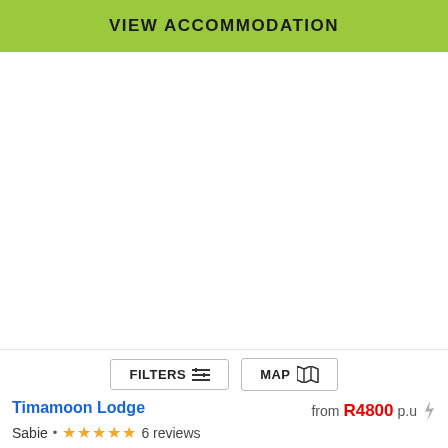VIEW ACCOMMODATION
Timamoon Lodge
from R4800 p.u
Sabie • 6 reviews